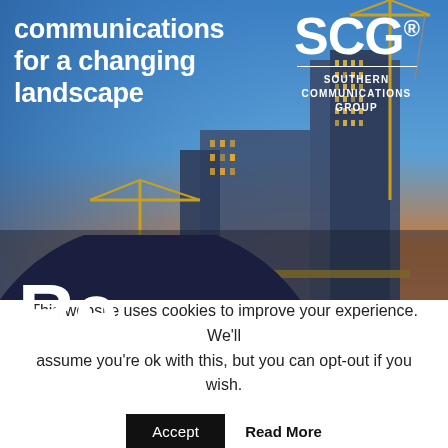[Figure (photo): Urban skyline at dusk with construction cranes and high-rise buildings under construction against a gradient blue-to-orange sunset sky]
communications for a changing landscape
[Figure (logo): SCG Southern Communications Group logo in white text]
[Figure (illustration): Pink/magenta semicircle arc overlapping a dark navy semicircle, with large white letter 'Re' partially visible]
This website uses cookies to improve your experience. We'll assume you're ok with this, but you can opt-out if you wish.
Accept  Read More